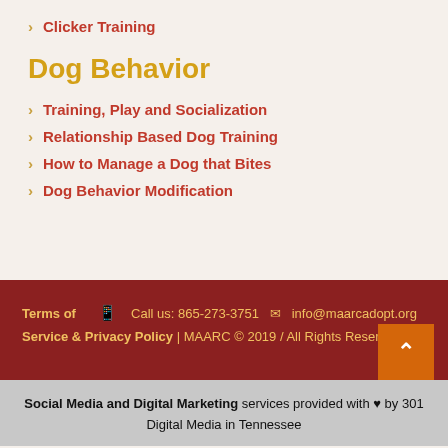Clicker Training
Dog Behavior
Training, Play and Socialization
Relationship Based Dog Training
How to Manage a Dog that Bites
Dog Behavior Modification
Terms of Service & Privacy Policy | Call us: 865-273-3751 | info@maarcadopt.org | MAARC © 2019 / All Rights Reserved
Social Media and Digital Marketing services provided with ♥ by 301 Digital Media in Tennessee